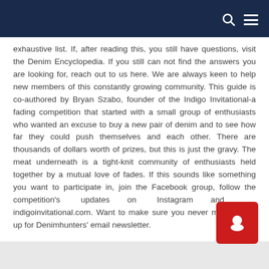Navigation bar with search and menu icons
exhaustive list. If, after reading this, you still have questions, visit the Denim Encyclopedia. If you still can not find the answers you are looking for, reach out to us here. We are always keen to help new members of this constantly growing community. This guide is co-authored by Bryan Szabo, founder of the Indigo Invitational-a fading competition that started with a small group of enthusiasts who wanted an excuse to buy a new pair of denim and to see how far they could push themselves and each other. There are thousands of dollars worth of prizes, but this is just the gravy. The meat underneath is a tight-knit community of enthusiasts held together by a mutual love of fades. If this sounds like something you want to participate in, join the Facebook group, follow the competition's updates on Instagram and at indigoinvitational.com. Want to make sure you never miss a Sign up for Denimhunters' email newsletter.